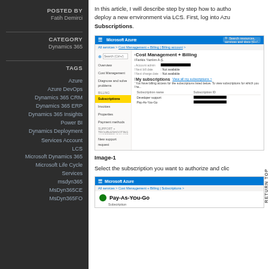POSTED BY
Fatih Demirci
CATEGORY
Dynamics 365
TAGS
Azure
Azure DevOps
Dynamics 365 CRM
Dynamics 365 ERP
Dynamics 365 Insights
Power BI
Dynamics Deployment
Services Account
LCS
Microsoft Dynamics 365
Microsoft Life Cycle Services
msdyn365
MsDyn365CE
MsDyn365FO
In this article, I will describe step by step how to autho deploy a new environment via LCS. First, log into Azu Subscriptions.
[Figure (screenshot): Microsoft Azure portal showing Cost Management + Billing page with Subscriptions section. Shows subscription names including Developer support and Pay-As-You-Go with redacted Subscription IDs.]
Image-1
Select the subscription you want to authorize and clic
[Figure (screenshot): Microsoft Azure portal showing Pay-As-You-Go Subscription page header.]